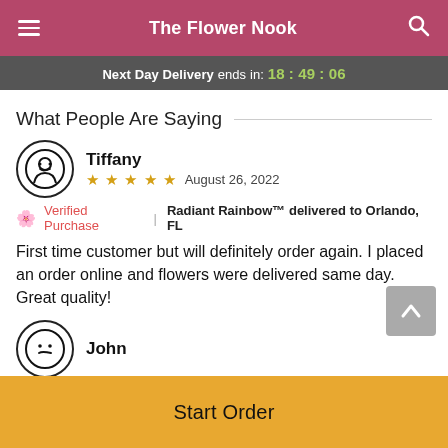The Flower Nook
Next Day Delivery ends in: 18:49:06
What People Are Saying
Tiffany
★★★★★  August 26, 2022
🌸 Verified Purchase | Radiant Rainbow™ delivered to Orlando, FL
First time customer but will definitely order again. I placed an order online and flowers were delivered same day. Great quality!
John